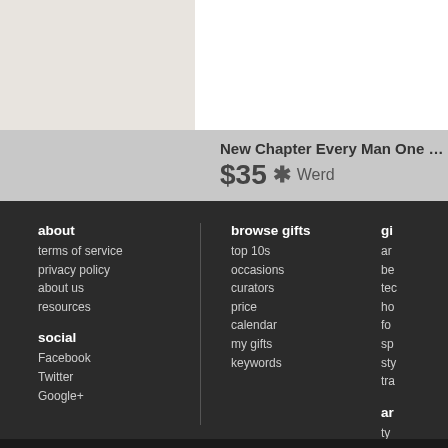[Figure (other): Beige/cream colored background area top left]
[Figure (other): White background area top right]
New Chapter Every Man One D...
$35 * Werd
about
terms of service
privacy policy
about us
resources
social
Facebook
Twitter
Google+
browse gifts
top 10s
occasions
curators
price
calendar
my gifts
keywords
gi...
ar...
be...
tec...
ho...
fo...
sp...
sty...
tra...
ar...
ty...
ar...
ar...
be...
sta...
be...
the...